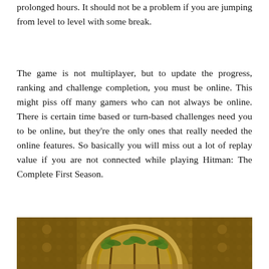prolonged hours. It should not be a problem if you are jumping from level to level with some break.
The game is not multiplayer, but to update the progress, ranking and challenge completion, you must be online. This might piss off many gamers who can not always be online. There is certain time based or turn-based challenges need you to be online, but they're the only ones that really needed the online features. So basically you will miss out a lot of replay value if you are not connected while playing Hitman: The Complete First Season.
[Figure (photo): A decorative image showing an ornate architectural scene with arches and palm trees, rendered in warm golden-brown tones reminiscent of a Middle Eastern or Mediterranean setting.]